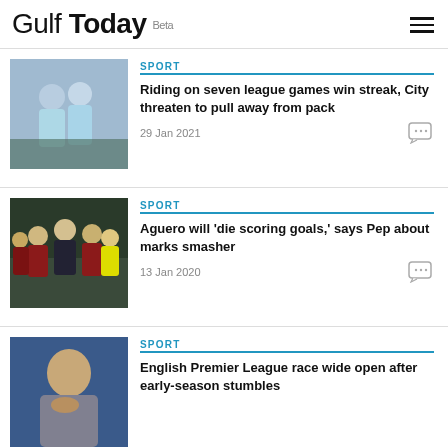Gulf Today Beta
[Figure (photo): Two Manchester City players in light blue kits celebrating on a football pitch]
SPORT
Riding on seven league games win streak, City threaten to pull away from pack
29 Jan 2021
[Figure (photo): Manchester City player in dark kit running with the ball during a match against players in red, with referee in background]
SPORT
Aguero will 'die scoring goals,' says Pep about marks smasher
13 Jan 2020
[Figure (photo): Bald man in grey jumper with hand near chin, blue background]
SPORT
English Premier League race wide open after early-season stumbles